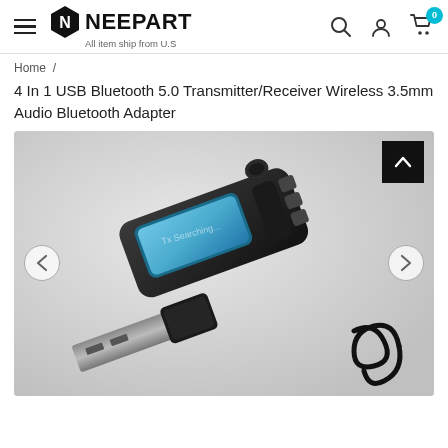NEEPART — All item ship from U.S
Home /
4 In 1 USB Bluetooth 5.0 Transmitter/Receiver Wireless 3.5mm Audio Bluetooth Adapter
[Figure (photo): Product photo of a black USB Bluetooth 5.0 transmitter/receiver dongle with LCD display showing 'Tx Searching...' and three control buttons on the side, along with a USB plug and coiled cable visible in the foreground, on a light gray background.]